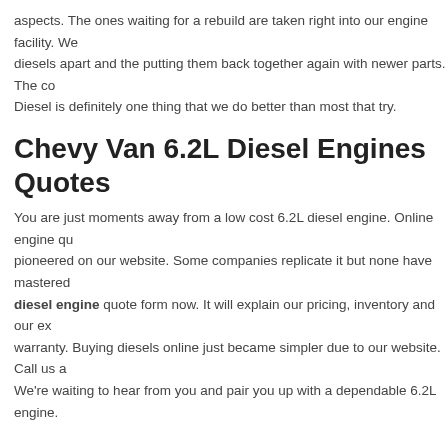aspects. The ones waiting for a rebuild are taken right into our engine facility. We diesels apart and the putting them back together again with newer parts. The co Diesel is definitely one thing that we do better than most that try.
Chevy Van 6.2L Diesel Engines Quotes
You are just moments away from a low cost 6.2L diesel engine. Online engine qu pioneered on our website. Some companies replicate it but none have mastered diesel engine quote form now. It will explain our pricing, inventory and our ex warranty. Buying diesels online just became simpler due to our website. Call us a We're waiting to hear from you and pair you up with a dependable 6.2L engine.
More Information
We have an extensive inventory of diesel engines for sale and are constantly adding
Other Transmission
Rebuilt Detroit Dies